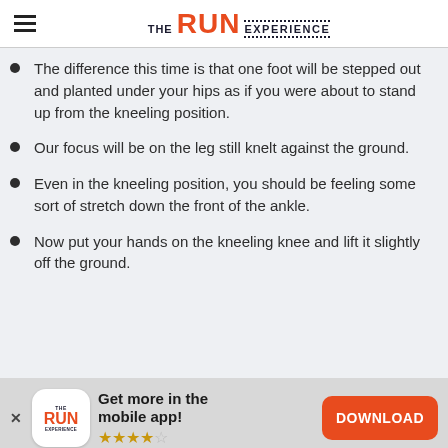THE RUN EXPERIENCE
The difference this time is that one foot will be stepped out and planted under your hips as if you were about to stand up from the kneeling position.
Our focus will be on the leg still knelt against the ground.
Even in the kneeling position, you should be feeling some sort of stretch down the front of the ankle.
Now put your hands on the kneeling knee and lift it slightly off the ground.
Get more in the mobile app! ★★★★☆ DOWNLOAD